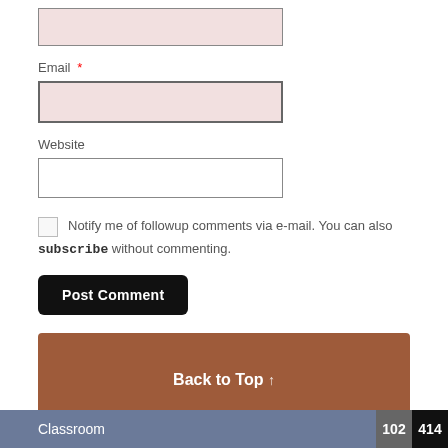Email *
Website
Notify me of followup comments via e-mail. You can also subscribe without commenting.
Post Comment
Back to Top ↑
Classroom  102  414